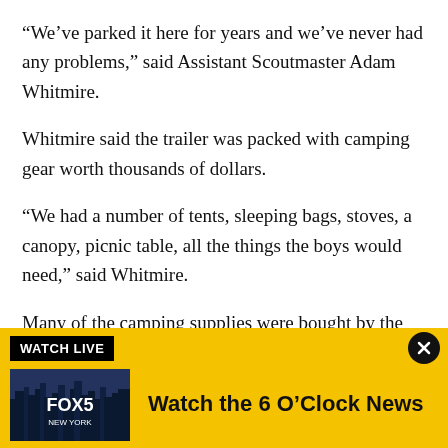“We’ve parked it here for years and we’ve never had any problems,” said Assistant Scoutmaster Adam Whitmire.
Whitmire said the trailer was packed with camping gear worth thousands of dollars.
“We had a number of tents, sleeping bags, stoves, a canopy, picnic table, all the things the boys would need,” said Whitmire.
Many of the camping supplies were bought by the boys using money they raised.
[Figure (screenshot): FOX5 New York Watch Live advertisement banner with yellow background, showing WATCH LIVE label, FOX5 New York logo thumbnail, and text 'Watch the 6 O'Clock News']